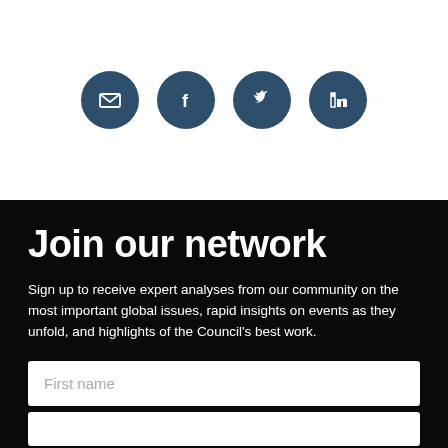[Figure (infographic): Four circular dark blue social media icons in a row: email (envelope), Facebook (f), Twitter (bird), LinkedIn (in)]
Join our network
Sign up to receive expert analyses from our community on the most important global issues, rapid insights on events as they unfold, and highlights of the Council's best work.